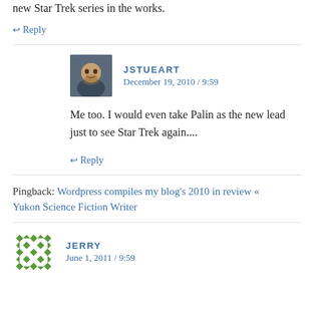new Star Trek series in the works.
↩ Reply
JSTUEART
December 19, 2010 / 9:59
Me too. I would even take Palin as the new lead just to see Star Trek again....
↩ Reply
Pingback: Wordpress compiles my blog's 2010 in review « Yukon Science Fiction Writer
JERRY
June 1, 2011 / 9:59